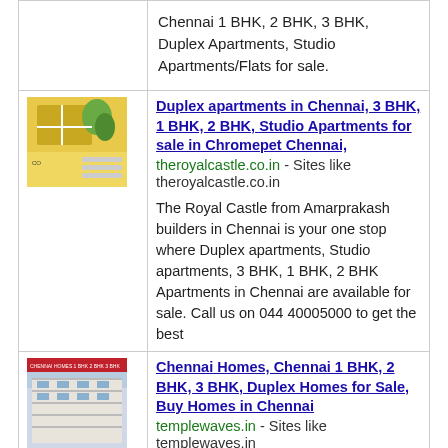| [image] | Chennai 1 BHK, 2 BHK, 3 BHK, Duplex Apartments, Studio Apartments/Flats for sale. |
| [image: theroyalcastle.co.in thumbnail] | Duplex apartments in Chennai, 3 BHK, 1 BHK, 2 BHK, Studio Apartments for sale in Chromepet Chennai, theroyalcastle.co.in - Sites like theroyalcastle.co.in

The Royal Castle from Amarprakash builders in Chennai is your one stop where Duplex apartments, Studio apartments, 3 BHK, 1 BHK, 2 BHK Apartments in Chennai are available for sale. Call us on 044 40005000 to get the best |
| [image: templewaves.in thumbnail] | Chennai Homes, Chennai 1 BHK, 2 BHK, 3 BHK, Duplex Homes for Sale, Buy Homes in Chennai
templewaves.in - Sites like templewaves.in

Buy 1 BHK, 2 BHK, 3 BHK Homes for Sale in Chennai |